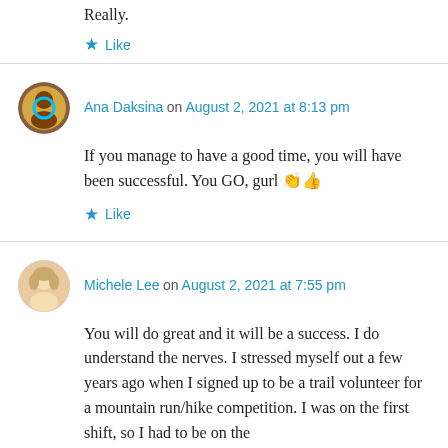Really.
★ Like
Ana Daksina on August 2, 2021 at 8:13 pm
If you manage to have a good time, you will have been successful. You GO, gurl 👏👍
★ Like
Michele Lee on August 2, 2021 at 7:55 pm
You will do great and it will be a success. I do understand the nerves. I stressed myself out a few years ago when I signed up to be a trail volunteer for a mountain run/hike competition. I was on the first shift, so I had to be on the